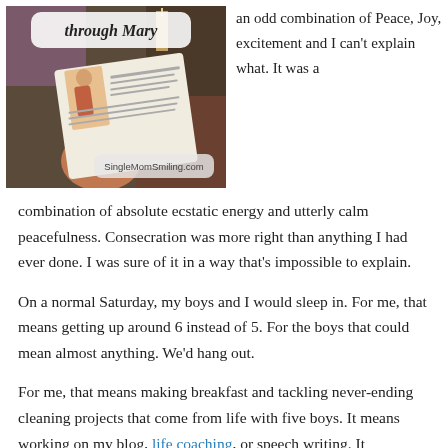[Figure (photo): Person holding a Divine Mercy Consecration Prayer card/document in what appears to be a church setting. Text overlay reads 'through Mary' and 'SingleMomSmiling.com']
an odd combination of Peace, Joy, excitement and I can't explain what. It was a combination of absolute ecstatic energy and utterly calm peacefulness. Consecration was more right than anything I had ever done. I was sure of it in a way that's impossible to explain.
On a normal Saturday, my boys and I would sleep in. For me, that means getting up around 6 instead of 5. For the boys that could mean almost anything. We'd hang out.
For me, that means making breakfast and tackling never-ending cleaning projects that come from life with five boys. It means working on my blog, life coaching, or speech writing. It